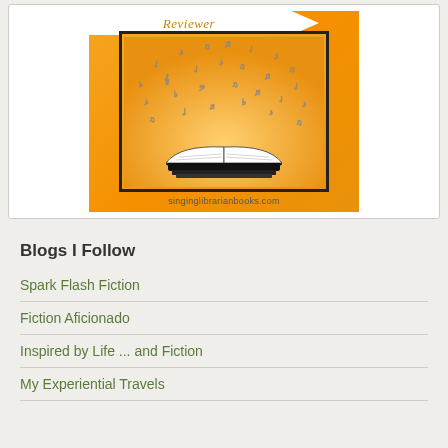[Figure (illustration): Orange background with black-bordered image frame showing an open book with musical notes and symbols flying upward, with 'Reviewer' text in italic on white banner at top, and site URL 'singinglibrarianbooks.com' at bottom]
singinglibrarianbooks.com
Blogs I Follow
Spark Flash Fiction
Fiction Aficionado
Inspired by Life ... and Fiction
My Experiential Travels